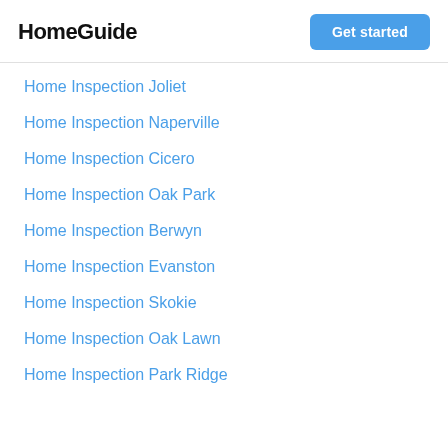HomeGuide
Get started
Home Inspection Joliet
Home Inspection Naperville
Home Inspection Cicero
Home Inspection Oak Park
Home Inspection Berwyn
Home Inspection Evanston
Home Inspection Skokie
Home Inspection Oak Lawn
Home Inspection Park Ridge